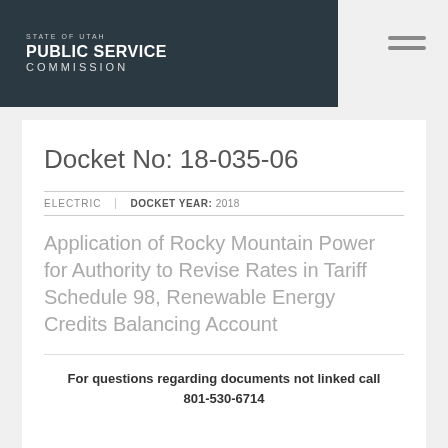[Figure (logo): State of Utah Public Service Commission logo — dark background with white text reading STATE OF UTAH / PUBLIC SERVICE / COMMISSION]
Docket No: 18-035-06
ELECTRIC   DOCKET YEAR: 2018
Application of Rocky Mountain Power for Authority to Revise Rates in Tariff Schedule 98, Renewable Energy Credits Balancing Account
For questions regarding documents not linked call 801-530-6714